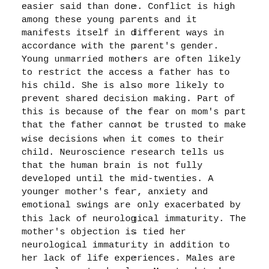easier said than done. Conflict is high among these young parents and it manifests itself in different ways in accordance with the parent's gender. Young unmarried mothers are often likely to restrict the access a father has to his child. She is also more likely to prevent shared decision making. Part of this is because of the fear on mom's part that the father cannot be trusted to make wise decisions when it comes to their child. Neuroscience research tells us that the human brain is not fully developed until the mid-twenties. A younger mother's fear, anxiety and emotional swings are only exacerbated by this lack of neurological immaturity. The mother's objection is tied her neurological immaturity in addition to her lack of life experiences. Males are even slower to develop. Men tend to be more likely to act assertive or be verbally loud or aggressive/ threatening when afraid. Young mothers are likely to be more dramatic, emotionally up and down. In turn the